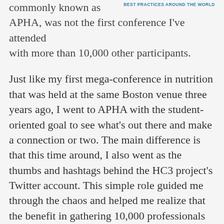BEST PRACTICES AROUND THE WORLD
Annual Meeting, commonly known as APHA, was not the first conference I've attended with more than 10,000 other participants.

Just like my first mega-conference in nutrition that was held at the same Boston venue three years ago, I went to APHA with the student-oriented goal to see what's out there and make a connection or two. The main difference is that this time around, I also went as the thumbs and hashtags behind the HC3 project's Twitter account. This simple role guided me through the chaos and helped me realize that the benefit in gathering 10,000 professionals under one roof for five days goes far beyond the attendees themselves.

For Johns Hopkins Bloomberg School of Public